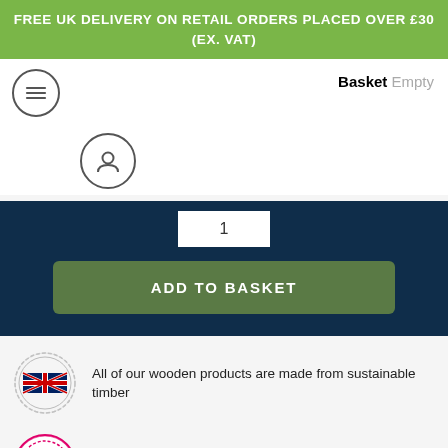FREE UK DELIVERY ON RETAIL ORDERS PLACED OVER £30 (EX. VAT)
Basket  Empty
1
ADD TO BASKET
All of our wooden products are made from sustainable timber
Get your product personalised, contact us for more information